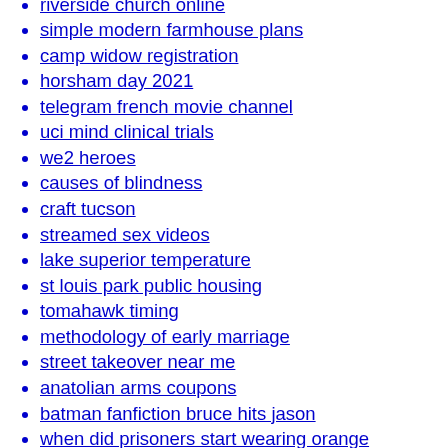riverside church online
simple modern farmhouse plans
camp widow registration
horsham day 2021
telegram french movie channel
uci mind clinical trials
we2 heroes
causes of blindness
craft tucson
streamed sex videos
lake superior temperature
st louis park public housing
tomahawk timing
methodology of early marriage
street takeover near me
anatolian arms coupons
batman fanfiction bruce hits jason
when did prisoners start wearing orange
why do guys want to help you
how to break a toddler from wanting to be held all the time
google survey rewards
house for rent in staten island by owner
watergrass builders
parker pto troubleshooting
where to find cheap houses for rent